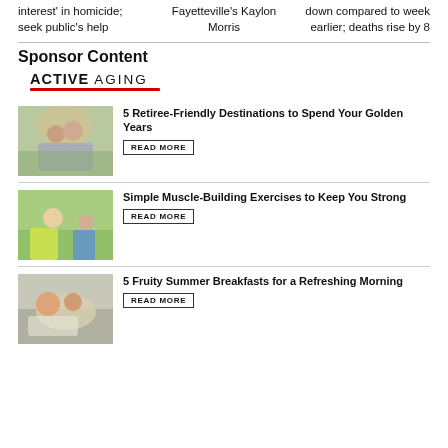interest' in homicide; seek public's help
Fayetteville's Kaylon Morris
down compared to week earlier; deaths rise by 8
Sponsor Content
[Figure (logo): ACTIVE AGING logo with red underline]
[Figure (photo): Older couple smiling outdoors]
5 Retiree-Friendly Destinations to Spend Your Golden Years
READ MORE
[Figure (photo): Older woman in yellow shirt exercising outdoors]
Simple Muscle-Building Exercises to Keep You Strong
READ MORE
[Figure (photo): Person holding food at a table with fruit]
5 Fruity Summer Breakfasts for a Refreshing Morning
READ MORE